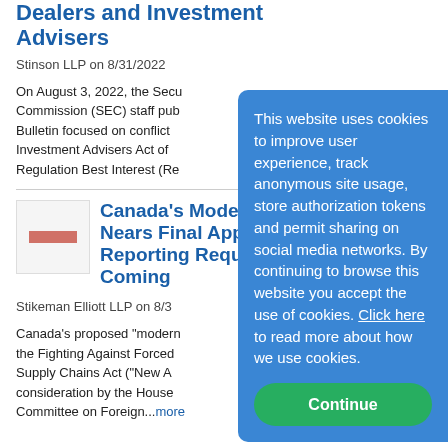Dealers and Investment Advisers
Stinson LLP on 8/31/2022
On August 3, 2022, the Securities and Exchange Commission (SEC) staff published a Staff Bulletin focused on conflicts of interest under the Investment Advisers Act of 1940 and the SEC's Regulation Best Interest (Re...
[Figure (other): Small thumbnail image placeholder with red bar]
Canada's Modern Slavery Act Nears Final Approval: Supply Chain Reporting Requirements Are Coming
Stikeman Elliott LLP on 8/3...
Canada's proposed "modern slavery" legislation, the Fighting Against Forced Labour and Child Labour in Supply Chains Act ("New Act"), is approaching final consideration by the House... Committee on Foreign...more
This website uses cookies to improve user experience, track anonymous site usage, store authorization tokens and permit sharing on social media networks. By continuing to browse this website you accept the use of cookies. Click here to read more about how we use cookies.